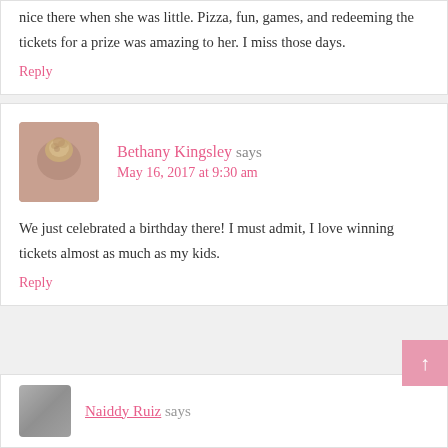nice there when she was little. Pizza, fun, games, and redeeming the tickets for a prize was amazing to her. I miss those days.
Reply
Bethany Kingsley says
May 16, 2017 at 9:30 am
We just celebrated a birthday there! I must admit, I love winning tickets almost as much as my kids.
Reply
Naiddy Ruiz says